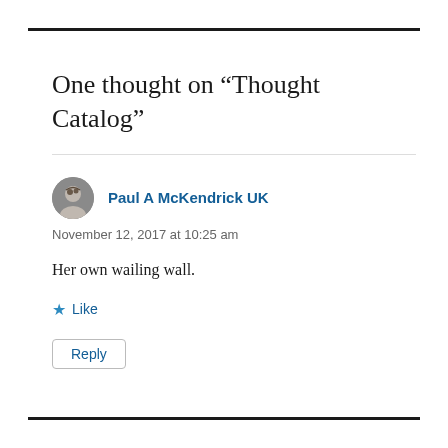One thought on “Thought Catalog”
Paul A McKendrick UK
November 12, 2017 at 10:25 am
Her own wailing wall.
★ Like
Reply